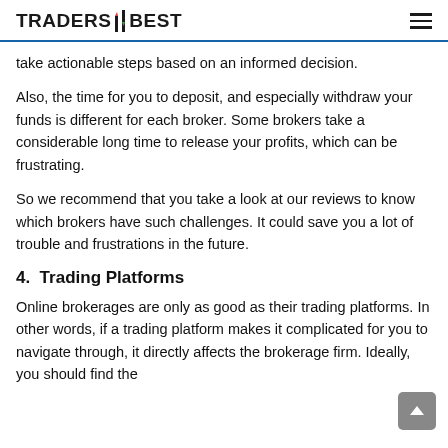TRADERS BEST
take actionable steps based on an informed decision.
Also, the time for you to deposit, and especially withdraw your funds is different for each broker. Some brokers take a considerable long time to release your profits, which can be frustrating.
So we recommend that you take a look at our reviews to know which brokers have such challenges. It could save you a lot of trouble and frustrations in the future.
4.  Trading Platforms
Online brokerages are only as good as their trading platforms. In other words, if a trading platform makes it complicated for you to navigate through, it directly affects the brokerage firm. Ideally, you should find the